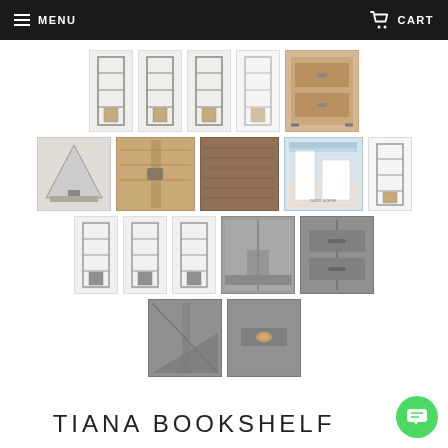MENU  CART
[Figure (photo): Product image gallery showing multiple views of the TIANA BOOKSHELF: front views, detail shots of wood grain and corner hardware, room scene, close-up of shelf hardware, angled views, and detail of drawer pull in oak and grey finishes]
TIANA BOOKSHELF